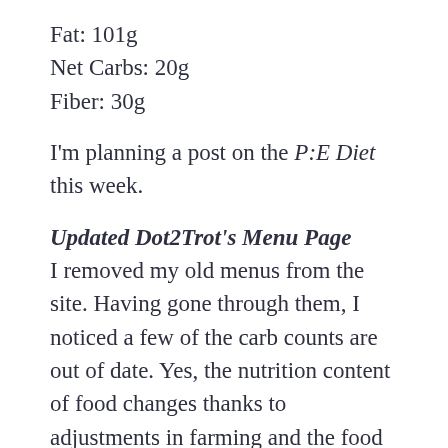Fat: 101g
Net Carbs: 20g
Fiber: 30g
I'm planning a post on the P:E Diet this week.
Updated Dot2Trot's Menu Page
I removed my old menus from the site. Having gone through them, I noticed a few of the carb counts are out of date. Yes, the nutrition content of food changes thanks to adjustments in farming and the food manufacturing process